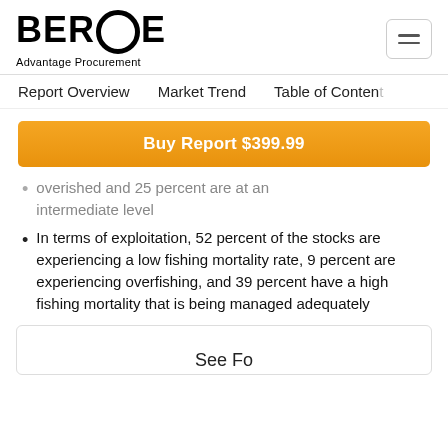BEROE Advantage Procurement
Report Overview   Market Trend   Table of Contents
Buy Report $399.99
overished and 25 percent are at an intermediate level
In terms of exploitation, 52 percent of the stocks are experiencing a low fishing mortality rate, 9 percent are experiencing overfishing, and 39 percent have a high fishing mortality that is being managed adequately